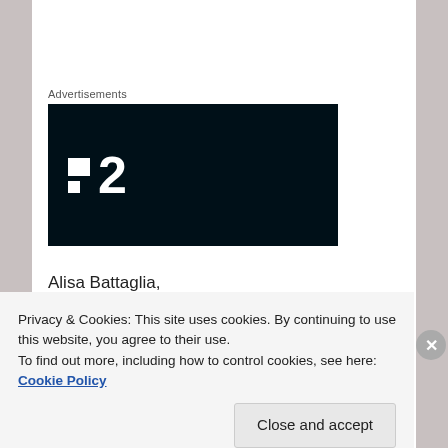Advertisements
[Figure (logo): Dark banner with a logo showing two white squares stacked and the number 2 in white — appears to be a TV channel or streaming service logo]
Alisa Battaglia,
Michigan 2017-2018
Privacy & Cookies: This site uses cookies. By continuing to use this website, you agree to their use.
To find out more, including how to control cookies, see here: Cookie Policy
Close and accept